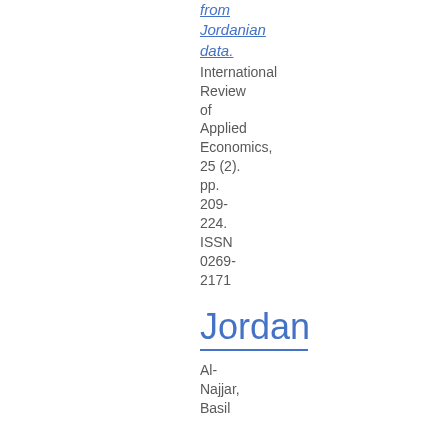from Jordanian data. International Review of Applied Economics, 25 (2). pp. 209-224. ISSN 0269-2171
Jordan
Al-Najjar, Basil